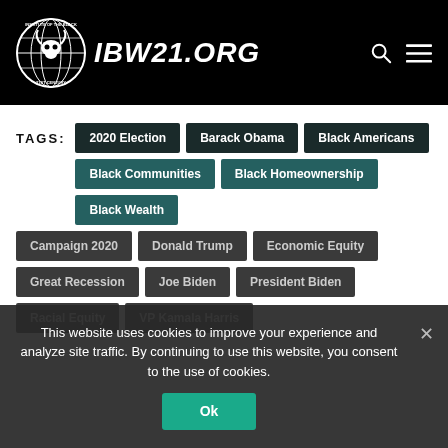IBW21.ORG
TAGS: 2020 Election | Barack Obama | Black Americans | Black Communities | Black Homeownership | Black Wealth | Campaign 2020 | Donald Trump | Economic Equity | Great Recession | Joe Biden | President Biden | Racial Equity | VP Kamala Harris
This website uses cookies to improve your experience and analyze site traffic. By continuing to use this website, you consent to the use of cookies.